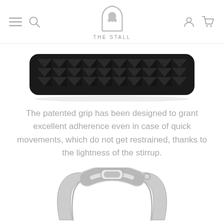THE STALL
[Figure (photo): Close-up top view of a black stirrup tread/grip pad with a textured zigzag/chevron pattern and rounded rectangular shape, viewed from above against a white background.]
The patented grip has been designed to grant excellent adherence even in case of quick movements, which do not get restrained, thanks to the lightness of the stirrup.
[Figure (photo): Close-up of the top arch of a silver/aluminum equestrian stirrup showing the leather bar slot and the curved side arms, partially cropped at the bottom edge.]